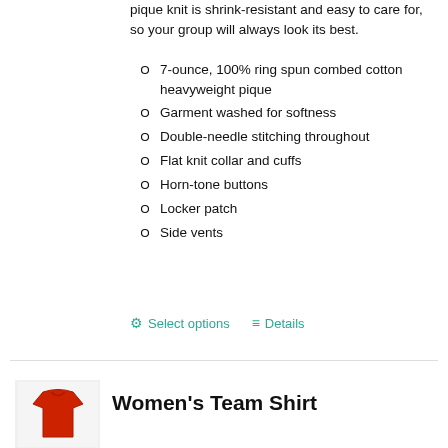pique knit is shrink-resistant and easy to care for, so your group will always look its best.
7-ounce, 100% ring spun combed cotton heavyweight pique
Garment washed for softness
Double-needle stitching throughout
Flat knit collar and cuffs
Horn-tone buttons
Locker patch
Side vents
⚙ Select options   ≡ Details
Women's Team Shirt